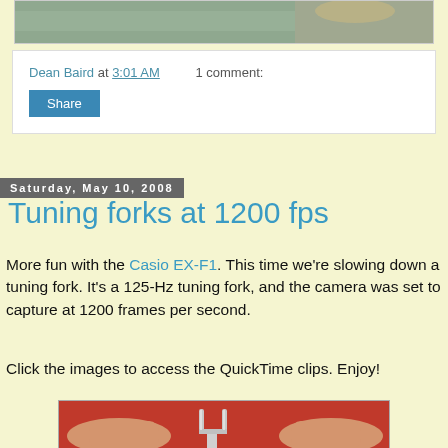[Figure (photo): Partial photo visible at top of page, appears to be an outdoor scene]
Dean Baird at 3:01 AM    1 comment:
Share
Saturday, May 10, 2008
Tuning forks at 1200 fps
More fun with the Casio EX-F1. This time we're slowing down a tuning fork. It's a 125-Hz tuning fork, and the camera was set to capture at 1200 frames per second.
Click the images to access the QuickTime clips. Enjoy!
[Figure (photo): Photo of hands holding a metal tuning fork against a red background]